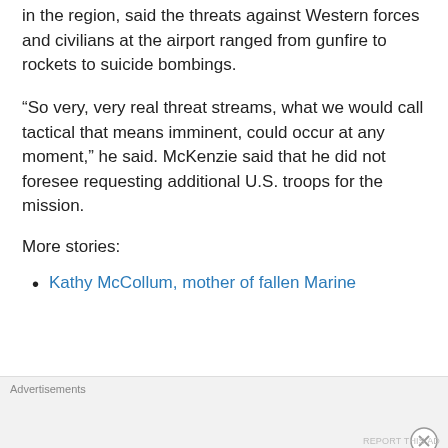in the region, said the threats against Western forces and civilians at the airport ranged from gunfire to rockets to suicide bombings.
“So very, very real threat streams, what we would call tactical that means imminent, could occur at any moment,” he said. McKenzie said that he did not foresee requesting additional U.S. troops for the mission.
More stories:
Kathy McCollum, mother of fallen Marine
Advertisements